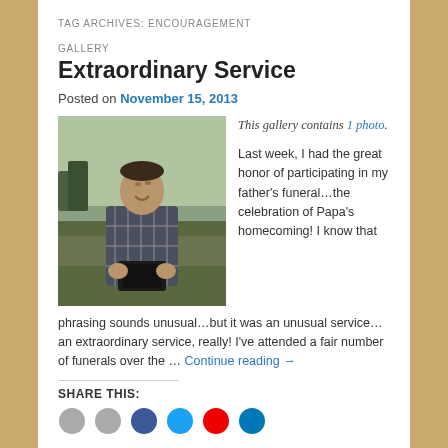TAG ARCHIVES: ENCOURAGEMENT
GALLERY
Extraordinary Service
Posted on November 15, 2013
[Figure (photo): Man in plaid shirt looking upward outdoors, holding a book, with trees and sky in background]
This gallery contains 1 photo.
Last week, I had the great honor of participating in my father's funeral…the celebration of Papa's homecoming! I know that phrasing sounds unusual…but it was an unusual service…an extraordinary service, really! I've attended a fair number of funerals over the … Continue reading →
SHARE THIS: